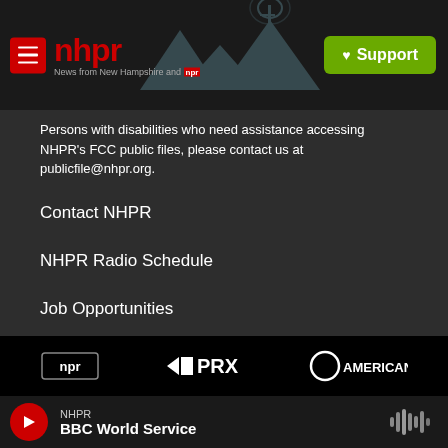nhpr – News from New Hampshire and NPR | Support
Persons with disabilities who need assistance accessing NHPR's FCC public files, please contact us at publicfile@nhpr.org.
Contact NHPR
NHPR Radio Schedule
Job Opportunities
Public File
Terms Of Use
[Figure (logo): NPR logo, PRX logo, American logo — partner organization logos in black footer bar]
NHPR – BBC World Service